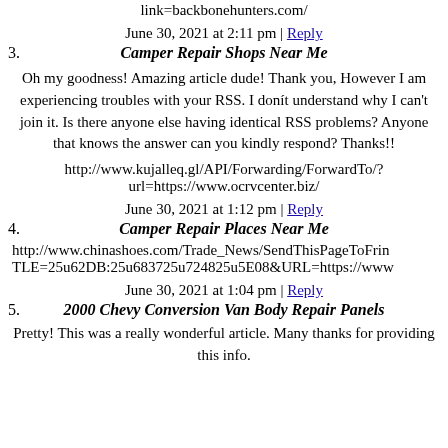link=backbonehunters.com/
June 30, 2021 at 2:11 pm | Reply
3. Camper Repair Shops Near Me
Oh my goodness! Amazing article dude! Thank you, However I am experiencing troubles with your RSS. I donít understand why I can't join it. Is there anyone else having identical RSS problems? Anyone that knows the answer can you kindly respond? Thanks!!
http://www.kujalleq.gl/API/Forwarding/ForwardTo/?url=https://www.ocrvcenter.biz/
June 30, 2021 at 1:12 pm | Reply
4. Camper Repair Places Near Me
http://www.chinashoes.com/Trade_News/SendThisPageToFrin TLE=25u62DB:25u683725u724825u5E08&URL=https://www
June 30, 2021 at 1:04 pm | Reply
5. 2000 Chevy Conversion Van Body Repair Panels
Pretty! This was a really wonderful article. Many thanks for providing this info.